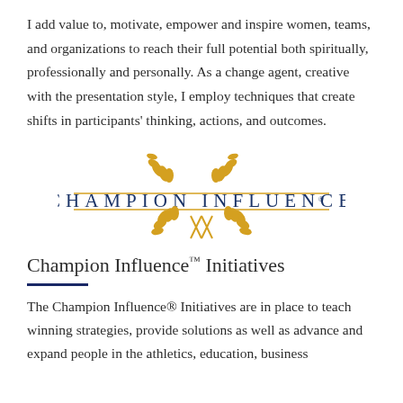I add value to, motivate, empower and inspire women, teams, and organizations to reach their full potential both spiritually, professionally and personally. As a change agent, creative with the presentation style, I employ techniques that create shifts in participants' thinking, actions, and outcomes.
[Figure (logo): Champion Influence logo: gold laurel wreath decoration above and below, two horizontal gold lines flanking the text 'CHAMPION INFLUENCE' in spaced blue capital letters, with an X motif at the bottom center.]
Champion Influence™ Initiatives
The Champion Influence® Initiatives are in place to teach winning strategies, provide solutions as well as advance and expand people in the athletics, education, business